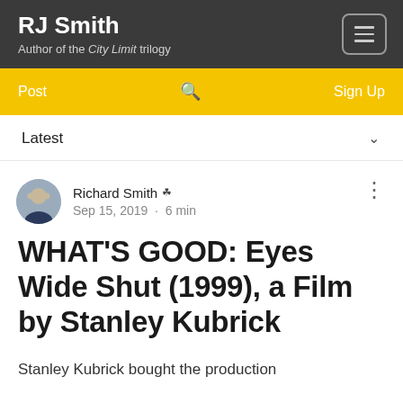RJ Smith – Author of the City Limit trilogy
Post · Sign Up
Latest
Richard Smith · Sep 15, 2019 · 6 min
WHAT'S GOOD: Eyes Wide Shut (1999), a Film by Stanley Kubrick
Stanley Kubrick bought the production